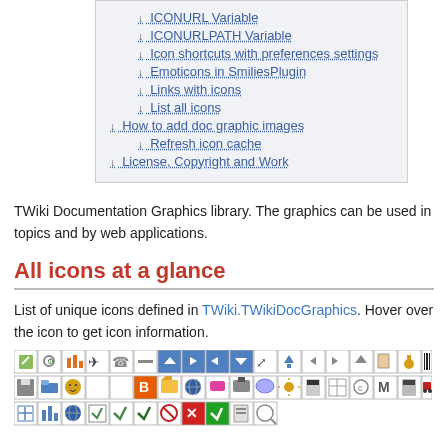↓ ICONURL Variable
↓ ICONURLPATH Variable
↓ Icon shortcuts with preferences settings
↓ Emoticons in SmiliesPlugin
↓ Links with icons
↓ List all icons
↓ How to add doc graphic images
↓ Refresh icon cache
↓ License, Copyright and Work
TWiki Documentation Graphics library. The graphics can be used in topics and by web applications.
All icons at a glance
List of unique icons defined in TWiki.TWikiDocGraphics. Hover over the icon to get icon information.
[Figure (other): Grid of small icon images representing various TWiki documentation graphics icons in rows]